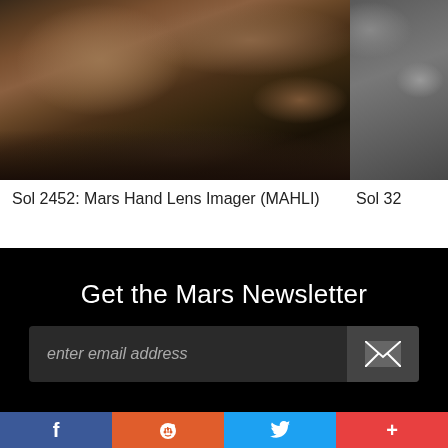[Figure (photo): Mars surface photo showing rocky terrain with layered sedimentary rock formations, dark reddish-brown tones, taken by Mars Hand Lens Imager (MAHLI)]
Sol 2452: Mars Hand Lens Imager (MAHLI)
[Figure (photo): Partial Mars surface photo, gray rocky terrain, cropped at right edge]
Sol 32
Get the Mars Newsletter
enter email address